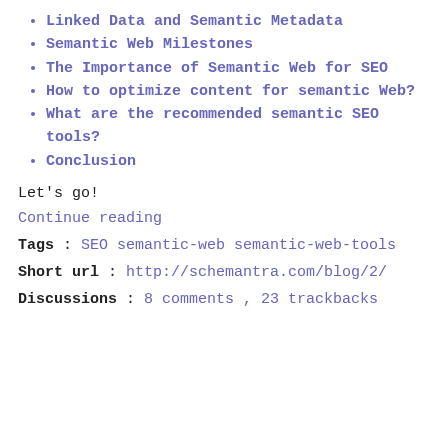Linked Data and Semantic Metadata
Semantic Web Milestones
The Importance of Semantic Web for SEO
How to optimize content for semantic Web?
What are the recommended semantic SEO tools?
Conclusion
Let's go!
Continue reading
Tags : SEO semantic-web semantic-web-tools
Short url : http://schemantra.com/blog/2/
Discussions : 8 comments , 23 trackbacks